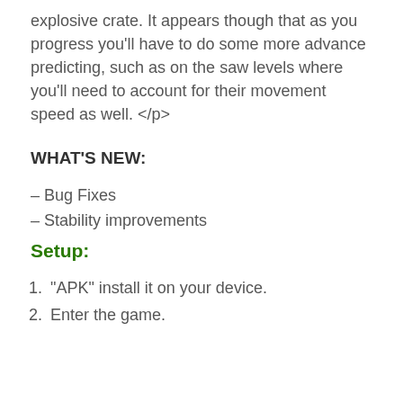explosive crate. It appears though that as you progress you'll have to do some more advance predicting, such as on the saw levels where you'll need to account for their movement speed as well. </p>
WHAT'S NEW:
– Bug Fixes
– Stability improvements
Setup:
1. “APK” install it on your device.
2. Enter the game.